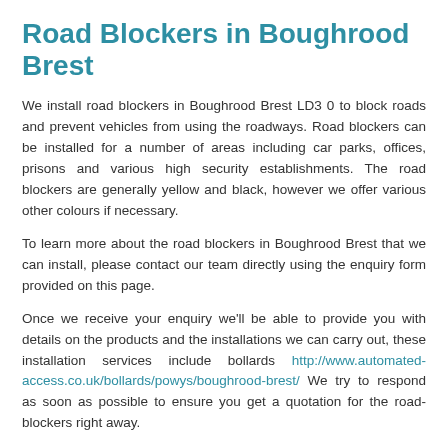Road Blockers in Boughrood Brest
We install road blockers in Boughrood Brest LD3 0 to block roads and prevent vehicles from using the roadways. Road blockers can be installed for a number of areas including car parks, offices, prisons and various high security establishments. The road blockers are generally yellow and black, however we offer various other colours if necessary.
To learn more about the road blockers in Boughrood Brest that we can install, please contact our team directly using the enquiry form provided on this page.
Once we receive your enquiry we'll be able to provide you with details on the products and the installations we can carry out, these installation services include bollards http://www.automated-access.co.uk/bollards/powys/boughrood-brest/ We try to respond as soon as possible to ensure you get a quotation for the road-blockers right away.